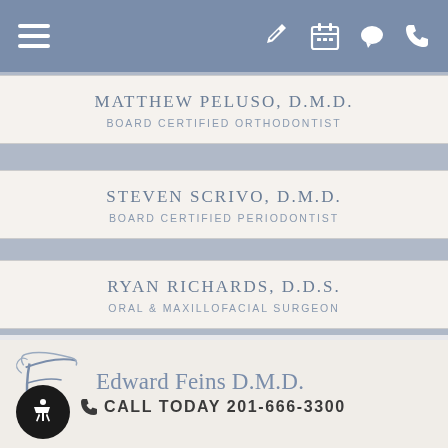Navigation bar with hamburger menu and icons
MATTHEW PELUSO, D.M.D.
BOARD CERTIFIED ORTHODONTIST
STEVEN SCRIVO, D.M.D.
BOARD CERTIFIED PERIODONTIST
RYAN RICHARDS, D.D.S.
ORAL & MAXILLOFACIAL SURGEON
[Figure (logo): Edward Feins D.M.D. logo with ornate cursive F monogram]
CALL TODAY 201-666-3300